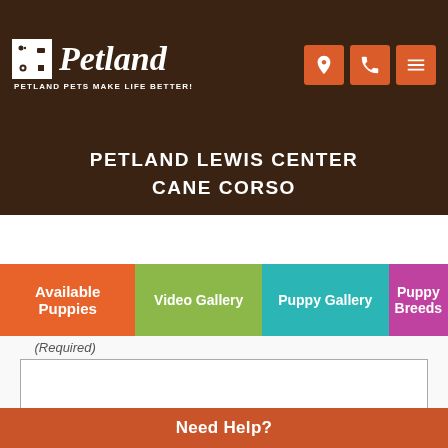Petland — Petland Pets Make Life Better!
PETLAND LEWIS CENTER
CANE CORSO
Available Puppies | Video Gallery | Puppy Gallery | Puppy Breeds
(Required)
Message (Required)
Need Help?